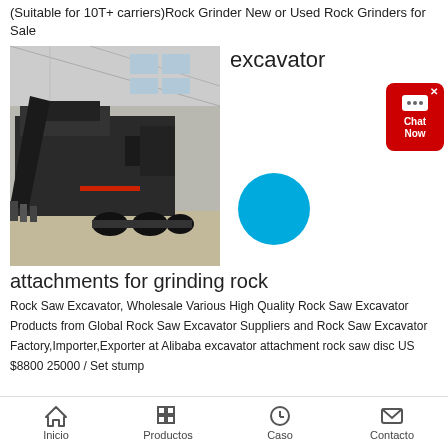(Suitable for 10T+ carriers)Rock Grinder New or Used Rock Grinders for Sale
excavator
[Figure (photo): A large mobile rock crushing/grinding machine inside an industrial warehouse, mounted on a wheeled trailer, with workers visible in the background.]
attachments for grinding rock
Rock Saw Excavator, Wholesale Various High Quality Rock Saw Excavator Products from Global Rock Saw Excavator Suppliers and Rock Saw Excavator Factory,Importer,Exporter at Alibaba excavator attachment rock saw disc US $8800 25000 / Set stump
Inicio   Productos   Caso   Contacto